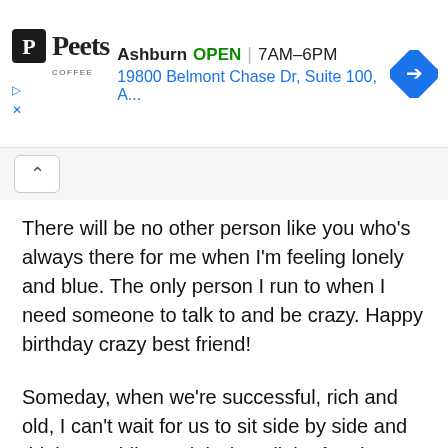[Figure (screenshot): Peet's Coffee ad banner showing Ashburn location, OPEN status, hours 7AM–6PM, address 19800 Belmont Chase Dr, Suite 100, A... and a blue navigation arrow icon]
There will be no other person like you who's always there for me when I'm feeling lonely and blue. The only person I run to when I need someone to talk to and be crazy. Happy birthday crazy best friend!
Someday, when we're successful, rich and old, I can't wait for us to sit side by side and drink tea while reminiscing all the fun times we had when we were younger. Happy birthday crazy buddy!